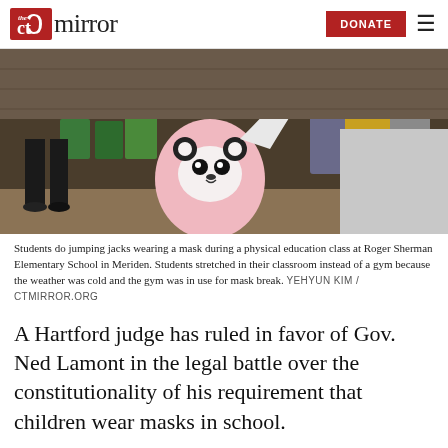the CT mirror | DONATE
[Figure (photo): Students doing jumping jacks wearing masks during a physical education class at Roger Sherman Elementary School in Meriden. A child in a pink panda hoodie is visible in the foreground with arms raised.]
Students do jumping jacks wearing a mask during a physical education class at Roger Sherman Elementary School in Meriden. Students stretched in their classroom instead of a gym because the weather was cold and the gym was in use for mask break. YEHYUN KIM / CTMIRROR.ORG
A Hartford judge has ruled in favor of Gov. Ned Lamont in the legal battle over the constitutionality of his requirement that children wear masks in school.